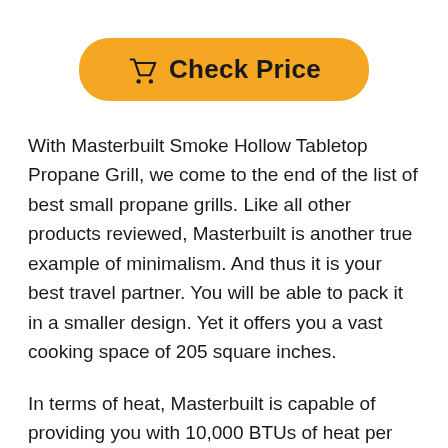[Figure (other): Orange rounded button with shopping cart icon and text 'Check Price']
With Masterbuilt Smoke Hollow Tabletop Propane Grill, we come to the end of the list of best small propane grills. Like all other products reviewed, Masterbuilt is another true example of minimalism. And thus it is your best travel partner. You will be able to pack it in a smaller design. Yet it offers you a vast cooking space of 205 square inches.
In terms of heat, Masterbuilt is capable of providing you with 10,000 BTUs of heat per unit. It comes with legs made of stainless steel. The good news is that these legs are foldable. So you can use them the way you like. Also